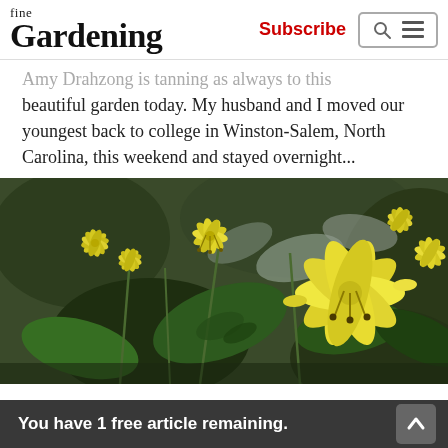fine Gardening | Subscribe
...bringing as always to this beautiful garden today. My husband and I moved our youngest back to college in Winston-Salem, North Carolina, this weekend and stayed overnight...
[Figure (photo): Yellow lily-like flowers (trout lilies or similar) with recurved petals, photographed in a garden setting with green leaves and dark foliage in the background.]
You have 1 free article remaining.